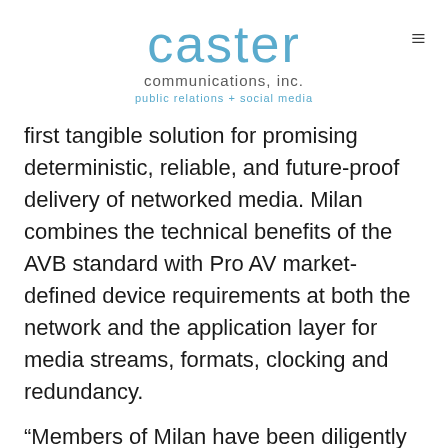caster communications, inc. public relations + social media
first tangible solution for promising deterministic, reliable, and future-proof delivery of networked media. Milan combines the technical benefits of the AVB standard with Pro AV market-defined device requirements at both the network and the application layer for media streams, formats, clocking and redundancy.
“Members of Milan have been diligently working behind the scenes for the last six months and we’re excited to use ISE as a forum to showcase the